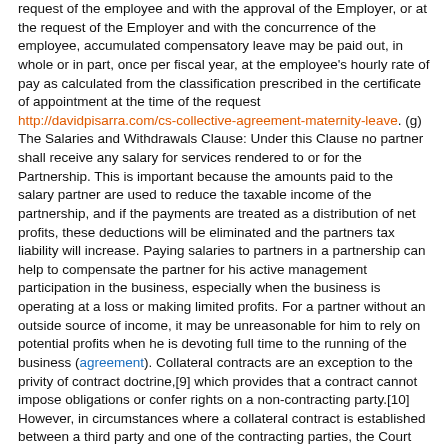request of the employee and with the approval of the Employer, or at the request of the Employer and with the concurrence of the employee, accumulated compensatory leave may be paid out, in whole or in part, once per fiscal year, at the employee's hourly rate of pay as calculated from the classification prescribed in the certificate of appointment at the time of the request http://davidpisarra.com/cs-collective-agreement-maternity-leave. (g) The Salaries and Withdrawals Clause: Under this Clause no partner shall receive any salary for services rendered to or for the Partnership. This is important because the amounts paid to the salary partner are used to reduce the taxable income of the partnership, and if the payments are treated as a distribution of net profits, these deductions will be eliminated and the partners tax liability will increase. Paying salaries to partners in a partnership can help to compensate the partner for his active management participation in the business, especially when the business is operating at a loss or making limited profits. For a partner without an outside source of income, it may be unreasonable for him to rely on potential profits when he is devoting full time to the running of the business (agreement). Collateral contracts are an exception to the privity of contract doctrine,[9] which provides that a contract cannot impose obligations or confer rights on a non-contracting party.[10] However, in circumstances where a collateral contract is established between a third party and one of the contracting parties, the Court may allow rights or impose obligations on the non-contracting party, as illustrated in the earlier tortious case of Donoghue v Stevenson.[11] The promisor must expressly or impliedly requested about the main contract and his promissory statement must have intended to induce the entry of the other party into the main contract.[4] According to Lord Denning MR, a collateral contract is held binding "when a person gives a promise, or an assurance to another, intending that he should act on it by entering into a contract".[5] In the English case of Barry